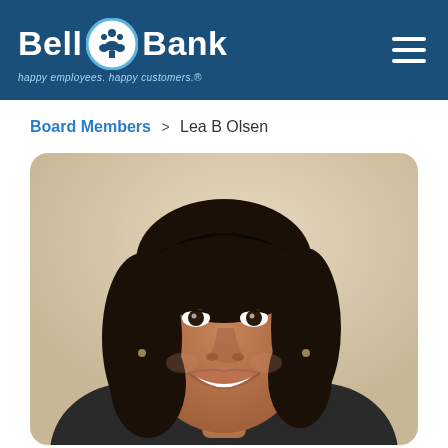Bell Bank — happy employees. happy customers.®
Board Members > Lea B Olsen
[Figure (photo): Professional headshot of Lea B Olsen, a woman with shoulder-length dark hair, smiling broadly, wearing a dark blazer, photographed against a warm beige/cream background.]